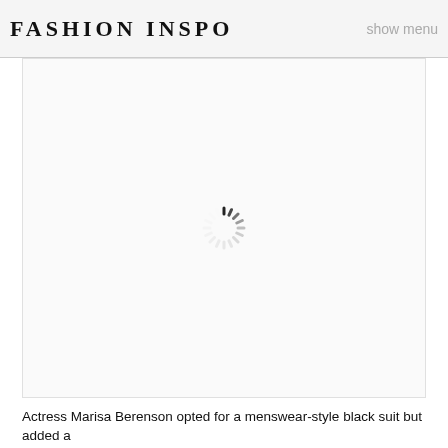FASHION INSPO   show menu
[Figure (photo): Loading spinner (circular progress indicator) centered in a large white image placeholder area]
Actress Marisa Berenson opted for a menswear-style black suit but added a